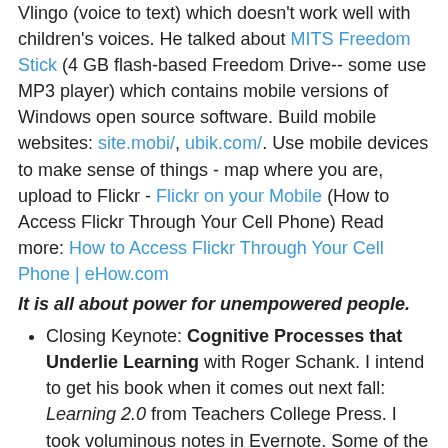Vlingo (voice to text) which doesn't work well with children's voices. He talked about MITS Freedom Stick (4 GB flash-based Freedom Drive-- some use MP3 player) which contains mobile versions of Windows open source software. Build mobile websites: site.mobi/, ubik.com/. Use mobile devices to make sense of things - map where you are, upload to Flickr - Flickr on your Mobile (How to Access Flickr Through Your Cell Phone) Read more: How to Access Flickr Through Your Cell Phone | eHow.com
It is all about power for unempowered people.
Closing Keynote: Cognitive Processes that Underlie Learning with Roger Schank. I intend to get his book when it comes out next fall: Learning 2.0 from Teachers College Press. I took voluminous notes in Evernote. Some of the key ideas:
We learn from experience - which experiences affect memory? (memory